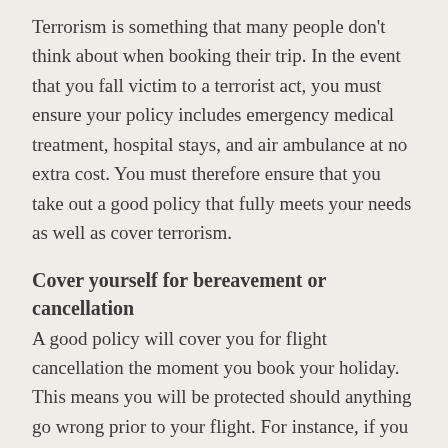Terrorism is something that many people don't think about when booking their trip. In the event that you fall victim to a terrorist act, you must ensure your policy includes emergency medical treatment, hospital stays, and air ambulance at no extra cost. You must therefore ensure that you take out a good policy that fully meets your needs as well as cover terrorism.
Cover yourself for bereavement or cancellation
A good policy will cover you for flight cancellation the moment you book your holiday. This means you will be protected should anything go wrong prior to your flight. For instance, if you lose your job, go through bereavement, or fall ill, you may not want to travel anymore. By having the right cover, you can claim for cancellation and get your money back from the insurer.